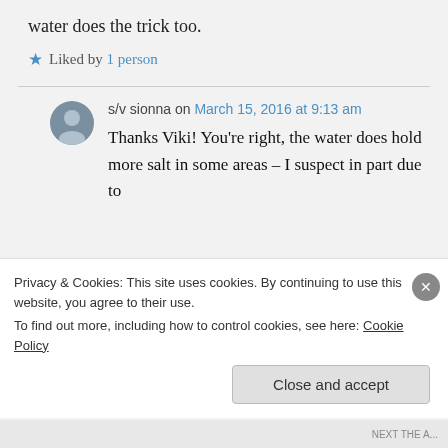water does the trick too.
★ Liked by 1 person
s/v sionna on March 15, 2016 at 9:13 am
Thanks Viki! You're right, the water does hold more salt in some areas – I suspect in part due to
Privacy & Cookies: This site uses cookies. By continuing to use this website, you agree to their use. To find out more, including how to control cookies, see here: Cookie Policy
Close and accept